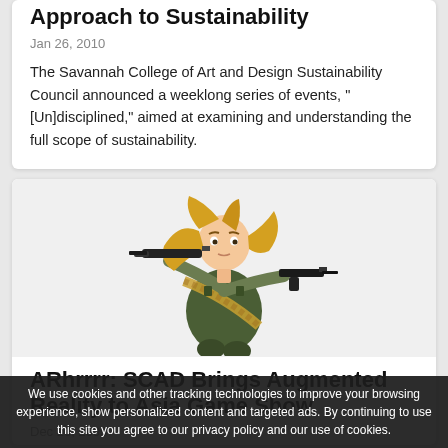Approach to Sustainability
Jan 26, 2010
The Savannah College of Art and Design Sustainability Council announced a weeklong series of events, "[Un]disciplined," aimed at examining and understanding the full scope of sustainability.
[Figure (illustration): Anime-style illustration of a blonde female character in military/tactical gear holding weapons including a machine gun and submachine gun, with an ammunition belt across her torso.]
ARhrrrr: SCAD Brings Augmented Reality to Asia Game Show
Dec 20, 2009
We use cookies and other tracking technologies to improve your browsing experience, show personalized content and targeted ads. By continuing to use this site you agree to our privacy policy and our use of cookies.